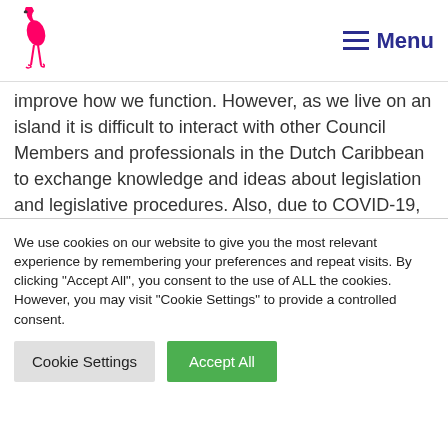Flamingo logo and Menu navigation
improve how we function. However, as we live on an island it is difficult to interact with other Council Members and professionals in the Dutch Caribbean to exchange knowledge and ideas about legislation and legislative procedures. Also, due to COVID-19, networking and educational opportunities were severely limited in the last two years," said Charles.
We use cookies on our website to give you the most relevant experience by remembering your preferences and repeat visits. By clicking "Accept All", you consent to the use of ALL the cookies. However, you may visit "Cookie Settings" to provide a controlled consent.